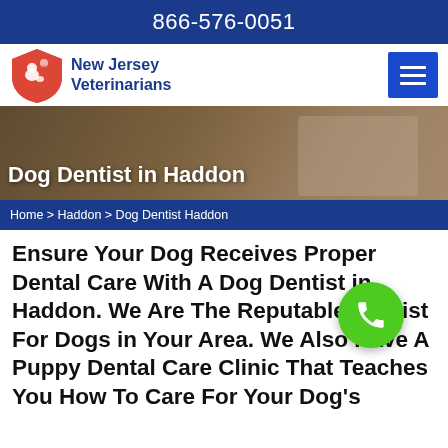866-576-0051
[Figure (logo): New Jersey Veterinarians logo with red shield and dog silhouette, blue navigation bar with hamburger menu]
Dog Dentist in Haddon
Home > Haddon > Dog Dentist Haddon
Ensure Your Dog Receives Proper Dental Care With A Dog Dentist in Haddon. We Are The Reputable Dentist For Dogs in Your Area. We Also Have A Puppy Dental Care Clinic That Teaches You How To Care For Your Dog's Gums And Teeth at Home